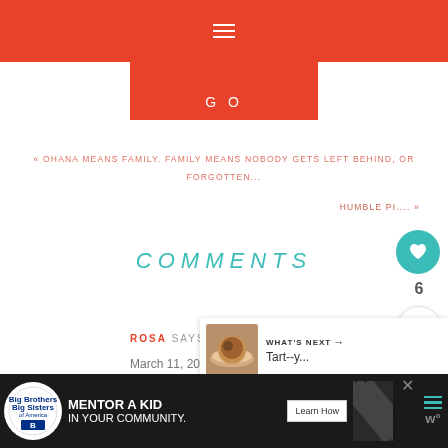GO
« OHANA MEANS FAMILY. FAMILY MEANS NOBODY GETS LEFT BEHIND, OR FORGOTTEN...
HUMBLE PI.... »
COMMENTS
6
ROSA SAYS
March 11, 2011 at 7:07 pm
WHAT'S NEXT → Tart--y...
[Figure (screenshot): Advertisement banner: Big Brothers Big Sisters logo, text MENTOR A KID IN YOUR COMMUNITY, Learn How button, diagonal stripe pattern, hamburger menu icon, close button, W logo]
MENTOR A KID IN YOUR COMMUNITY.
Learn How